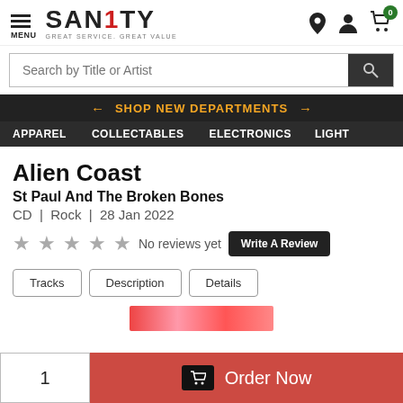[Figure (logo): Sanity logo with text SANITY and tagline GREAT SERVICE. GREAT VALUE]
Search by Title or Artist
← SHOP NEW DEPARTMENTS →
APPAREL   COLLECTABLES   ELECTRONICS   LIGHT
Alien Coast
St Paul And The Broken Bones
CD | Rock | 28 Jan 2022
★★★★★ No reviews yet Write A Review
Tracks | Description | Details
1   Order Now